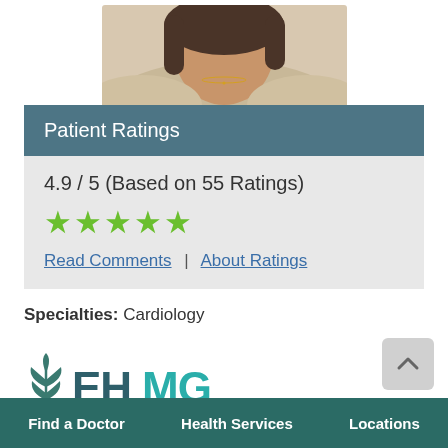[Figure (photo): Partial photo of a female doctor/person, showing neck and lower face area, with short brown hair and a thin necklace, wearing a light-colored top]
Patient Ratings
4.9 / 5 (Based on 55 Ratings)
[Figure (other): Five green star rating icons]
Read Comments | About Ratings
Specialties: Cardiology
[Figure (logo): EHMG Evergreen Health Medical Group logo with stylized leaf/wheat icon in teal, 'EH' in dark teal, 'MG' in bright teal, and 'EVERGREENHEALTH' text below]
Find a Doctor | Health Services | Locations